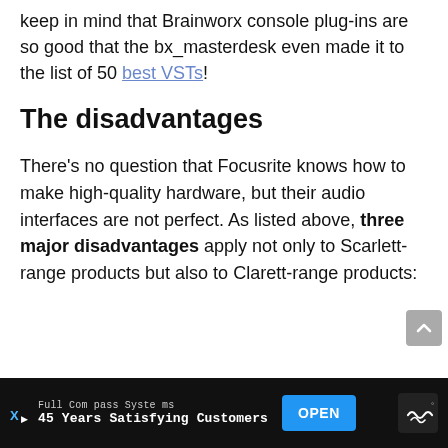keep in mind that Brainworx console plug-ins are so good that the bx_masterdesk even made it to the list of 50 best VSTs!
The disadvantages
There's no question that Focusrite knows how to make high-quality hardware, but their audio interfaces are not perfect. As listed above, three major disadvantages apply not only to Scarlett-range products but also to Clarett-range products:
[Figure (other): Advertisement banner: Full Compass Systems – 45 Years Satisfying Customers, with OPEN button]
Full Compass Systems | 45 Years Satisfying Customers | OPEN